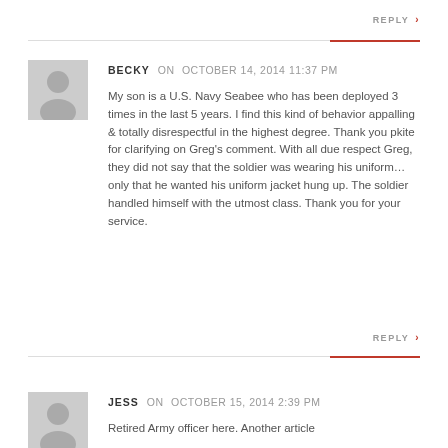REPLY ›
BECKY on OCTOBER 14, 2014 11:37 PM
My son is a U.S. Navy Seabee who has been deployed 3 times in the last 5 years. I find this kind of behavior appalling & totally disrespectful in the highest degree. Thank you pkite for clarifying on Greg's comment. With all due respect Greg, they did not say that the soldier was wearing his uniform… only that he wanted his uniform jacket hung up. The soldier handled himself with the utmost class. Thank you for your service.
REPLY ›
JESS on OCTOBER 15, 2014 2:39 PM
Retired Army officer here. Another article